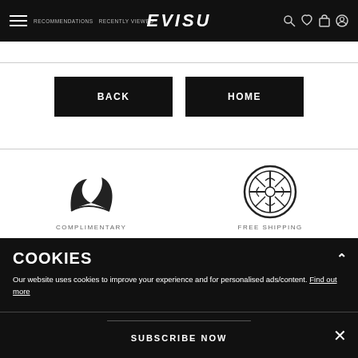EVISU — Navigation bar with hamburger menu, RECOMMENDATIONS, RECENTLY VIEWED, search, wishlist, bag, account icons
BACK
HOME
[Figure (logo): Evisu seagull swoosh logo mark]
COMPLIMENTARY
[Figure (logo): Circular wheel/medallion logo mark]
FREE SHIPPING
COOKIES
Our website uses cookies to improve your experience and for personalised ads/content. Find out more
SUBSCRIBE NOW